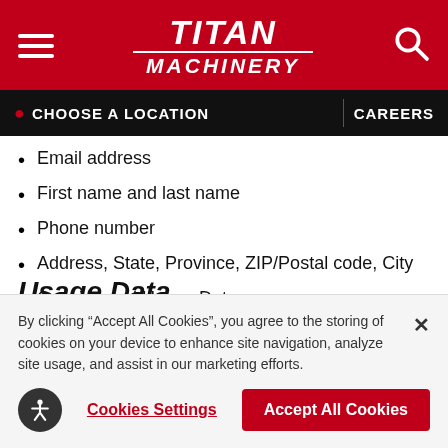[Figure (logo): Titan Machinery logo with hamburger menu icon on left and search icon on right, white on dark red background]
CHOOSE A LOCATION   CAREERS
Email address
First name and last name
Phone number
Address, State, Province, ZIP/Postal code, City
Cookies and Usage Data
Usage Data
By clicking “Accept All Cookies”, you agree to the storing of cookies on your device to enhance site navigation, analyze site usage, and assist in our marketing efforts.
Cookies Settings   Accept All Cookies